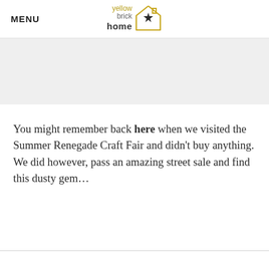MENU
[Figure (logo): Yellow Brick Home logo with house outline and star]
You might remember back here when we visited the Summer Renegade Craft Fair and didn't buy anything. We did however, pass an amazing street sale and find this dusty gem...